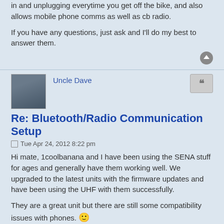in and unplugging everytime you get off the bike, and also allows mobile phone comms as well as cb radio.
If you have any questions, just ask and I'll do my best to answer them.
Uncle Dave
Re: Bluetooth/Radio Communication Setup
Tue Apr 24, 2012 8:22 pm
Hi mate, 1coolbanana and I have been using the SENA stuff for ages and generally have them working well. We upgraded to the latest units with the firmware updates and have been using the UHF with them successfully.
They are a great unit but there are still some compatibility issues with phones. 🙂
2010 Yamaha XT1200Z Super Ténéré
1989 Yamaha XTZ 850 Super Ténéré
1988 Yamaha XT600ZU Ténéré
1983 Honda XR 500
1978 Yamaha TY 175b
1coolbanana